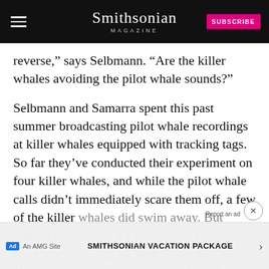Smithsonian MAGAZINE
reverse,” says Selbmann. “Are the killer whales avoiding the pilot whale sounds?”
Selbmann and Samarra spent this past summer broadcasting pilot whale recordings at killer whales equipped with tracking tags. So far they’ve conducted their experiment on four killer whales, and while the pilot whale calls didn’t immediately scare them off, a few of the killer whales did swim away. But Samarra cautioned it’s difficult to know what’s really going on without closer analysis. “It seems something has changed in this ecosystem,” Samarra
[Figure (other): SMITHSONIAN VACATION PACKAGE advertisement banner with arrow]